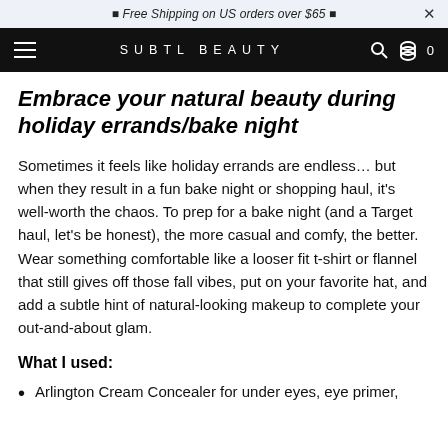🔔 Free Shipping on US orders over $65 🔔
SUBTL BEAUTY
Embrace your natural beauty during holiday errands/bake night
Sometimes it feels like holiday errands are endless… but when they result in a fun bake night or shopping haul, it's well-worth the chaos. To prep for a bake night (and a Target haul, let's be honest), the more casual and comfy, the better. Wear something comfortable like a looser fit t-shirt or flannel that still gives off those fall vibes, put on your favorite hat, and add a subtle hint of natural-looking makeup to complete your out-and-about glam.
What I used:
Arlington Cream Concealer for under eyes, eye primer,